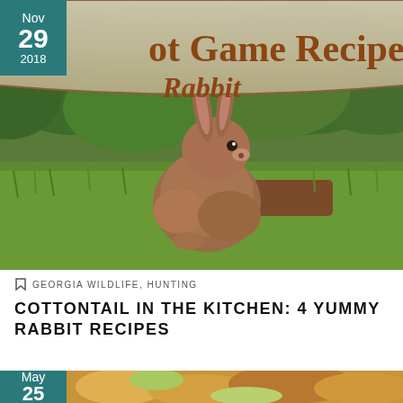[Figure (photo): A brown cottontail rabbit sitting on green grass with leafy green background. Banner overlay reads 'ot Game Recipes? Rabbit' in decorative script on a stone-textured background.]
Nov 29 2018
GEORGIA WILDLIFE, HUNTING
COTTONTAIL IN THE KITCHEN: 4 YUMMY RABBIT RECIPES
[Figure (photo): Partial photo of cooked food — May 25 date badge visible at bottom left corner.]